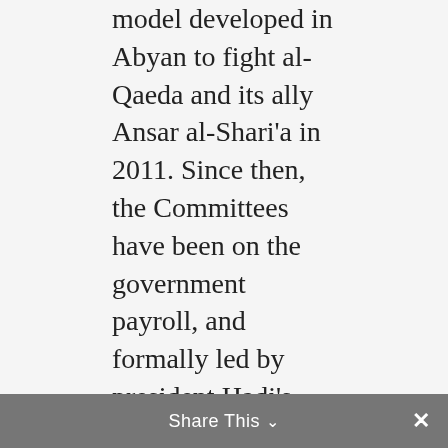model developed in Abyan to fight al-Qaeda and its ally Ansar al-Shari'a in 2011. Since then, the Committees have been on the government payroll, and formally led by president Hadi's brother Nasir, whose loyalties seem to shift regularly. The Committees are comprised of local men who sign up to provide security in areas now basically devoid of national army protection. In some towns the Committees have also helped to occupy sites of strategic importance, such as the Aden municipality building, the Aden TV building and the Hiswa power station outside the city. The Committees engaged in heavy fighting with al-Saqqaf's Special Security Forces units at the Aden airport on March 19. Lastly, the Committees, together
Share This ∨  ✕